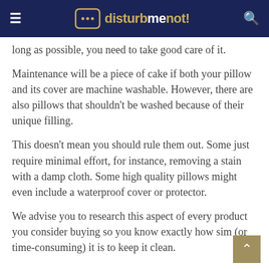disturbmenot!
long as possible, you need to take good care of it.
Maintenance will be a piece of cake if both your pillow and its cover are machine washable. However, there are also pillows that shouldn't be washed because of their unique filling.
This doesn't mean you should rule them out. Some just require minimal effort, for instance, removing a stain with a damp cloth. Some high quality pillows might even include a waterproof cover or protector.
We advise you to research this aspect of every product you consider buying so you know exactly how sim (or time-consuming) it is to keep it clean.